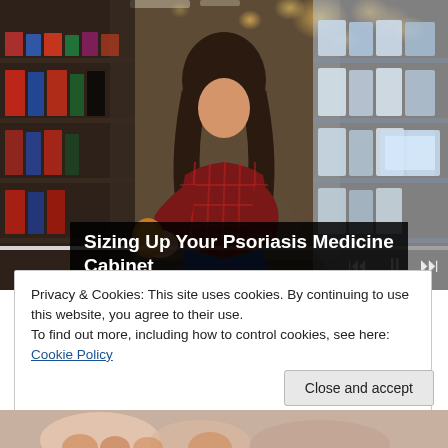[Figure (photo): Woman crouching in a pharmacy/drugstore aisle reading a product label. Shelves with products on both sides, bokeh lighting in background. Video player controls visible (progress bar, previous/pause/next buttons).]
Sizing Up Your Psoriasis Medicine Cabinet
Privacy & Cookies: This site uses cookies. By continuing to use this website, you agree to their use.
To find out more, including how to control cookies, see here:
Cookie Policy
Close and accept
[Figure (photo): Partial view of hands at the bottom of the page, cropped.]